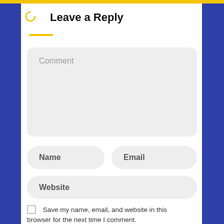Leave a Reply
Comment
Name
Email
Website
Save my name, email, and website in this browser for the next time I comment.